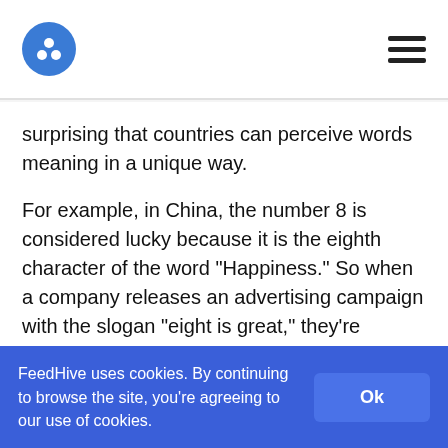FeedHive logo and navigation menu
surprising that countries can perceive words meaning in a unique way.
For example, in China, the number 8 is considered lucky because it is the eighth character of the word "Happiness." So when a company releases an advertising campaign with the slogan "eight is great," they're tapping into a cultural reference that resonates with Chinese consumers.
FeedHive uses cookies. By continuing to browse the site, you're agreeing to our use of cookies.